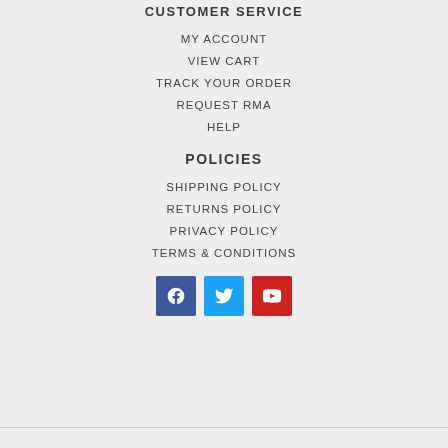CUSTOMER SERVICE
MY ACCOUNT
VIEW CART
TRACK YOUR ORDER
REQUEST RMA
HELP
POLICIES
SHIPPING POLICY
RETURNS POLICY
PRIVACY POLICY
TERMS & CONDITIONS
[Figure (other): Social media icons: Facebook (blue), Twitter (light blue), YouTube (red)]